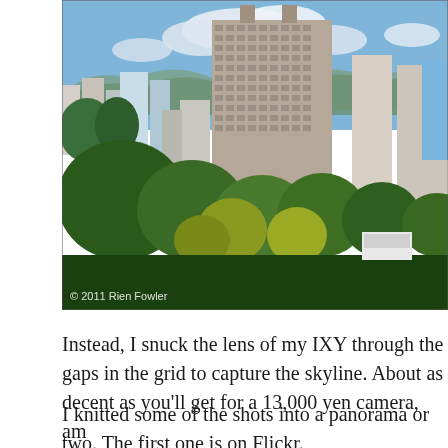[Figure (photo): Panoramic cityscape photo of a Japanese city (likely Matsuyama or similar) showing urban skyline with tall apartment/office buildings, trees in foreground, mountains in background, blue sky with clouds. Copyright watermark reads '© 2011 Rien Fowler'.]
Instead, I snuck the lens of my IXY through the gaps in the grid to capture the skyline. About as decent as you'll get for a 13,000 yen camera, am
I knitted some of the shots into a panorama or two. The first one is on Flickr.